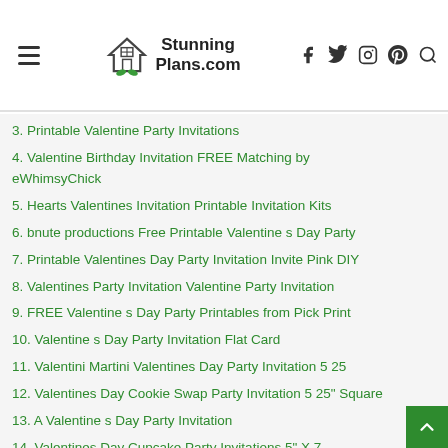StunningPlans.com
3. Printable Valentine Party Invitations
4. Valentine Birthday Invitation FREE Matching by eWhimsyChick
5. Hearts Valentines Invitation Printable Invitation Kits
6. bnute productions Free Printable Valentine s Day Party
7. Printable Valentines Day Party Invitation Invite Pink DIY
8. Valentines Party Invitation Valentine Party Invitation
9. FREE Valentine s Day Party Printables from Pick Print
10. Valentine s Day Party Invitation Flat Card
11. Valentini Martini Valentines Day Party Invitation 5 25
12. Valentines Day Cookie Swap Party Invitation 5 25" Square
13. A Valentine s Day Party Invitation
14. Valentines Day Cupcake Party Invitations 5" X 7
15. Valentine s Day Party Invitation
16. Valentine s Day Party Invitation Flat Card 4 25" X 5 5
17. Red Hearts on Radiant White Valentines Party Invitation